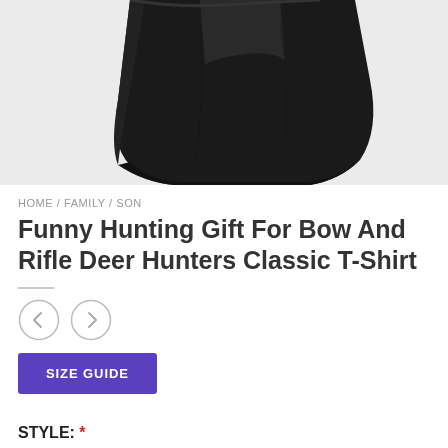[Figure (photo): Close-up photo of a folded black t-shirt on a light grey/white background, showing the bottom hem and side edges of the garment.]
HOME / FAMILY / SON
Funny Hunting Gift For Bow And Rifle Deer Hunters Classic T-Shirt
[Figure (other): Two circular navigation arrow buttons (left and right) for cycling through product images.]
SIZE GUIDE
STYLE: *